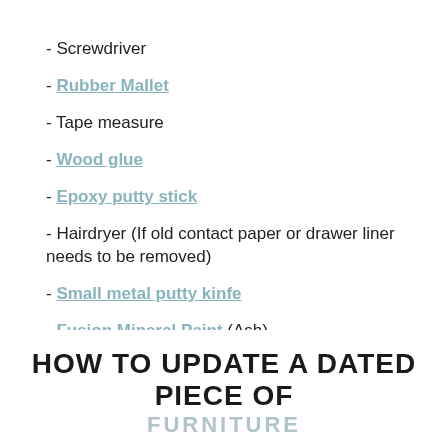- Screwdriver
- Rubber Mallet
- Tape measure
- Wood glue
- Epoxy putty stick
- Hairdryer (If old contact paper or drawer liner needs to be removed)
- Small metal putty kinfe
- Fusion Mineral Paint (Ash)
- Purdy paintbrush
- Moving blanket
HOW TO UPDATE A DATED PIECE OF FURNITURE